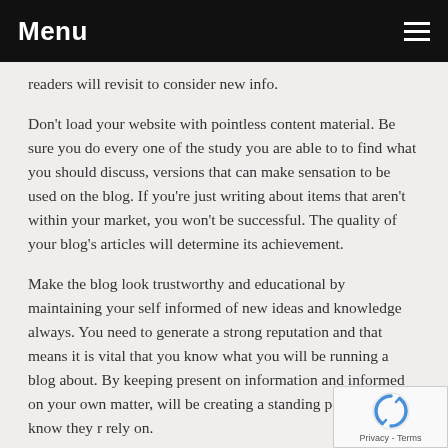Menu
readers will revisit to consider new info.
Don't load your website with pointless content material. Be sure you do every one of the study you are able to to find what you should discuss, versions that can make sensation to be used on the blog. If you're just writing about items that aren't within your market, you won't be successful. The quality of your blog's articles will determine its achievement.
Make the blog look trustworthy and educational by maintaining your self informed of new ideas and knowledge always. You need to generate a strong reputation and that means it is vital that you know what you will be running a blog about. By keeping present on information and informed on your own matter, will be creating a standing people will know they r... rely on.